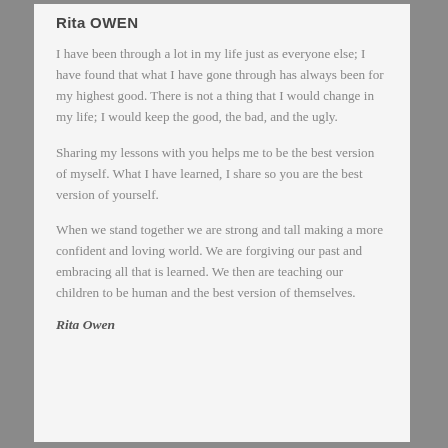Rita OWEN
I have been through a lot in my life just as everyone else; I have found that what I have gone through has always been for my highest good.  There is not a thing that I would change in my life; I would keep the good, the bad, and the ugly.
Sharing my lessons with you helps me to be the best version of myself.  What I have learned, I share so you are the best version of yourself.
When we stand together we are strong and tall making a more confident and loving world.  We are forgiving our past and embracing all that is learned.  We then are teaching our children to be human and the best version of themselves.
Rita Owen